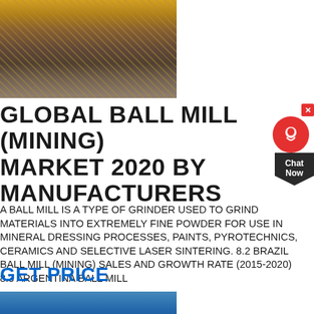[Figure (photo): Mining equipment / ball mill machinery at a mining site, aerial/ground view with yellow and brown earthy tones]
GLOBAL BALL MILL (MINING) MARKET 2020 BY MANUFACTURERS
A BALL MILL IS A TYPE OF GRINDER USED TO GRIND MATERIALS INTO EXTREMELY FINE POWDER FOR USE IN MINERAL DRESSING PROCESSES, PAINTS, PYROTECHNICS, CERAMICS AND SELECTIVE LASER SINTERING. 8.2 BRAZIL BALL MILL (MINING) SALES AND GROWTH RATE (2015-2020) 8.3 ARGENTINA BALL MILL
GET PRICE
[Figure (photo): Blue mining/crushing machinery equipment in a desert or arid landscape setting]